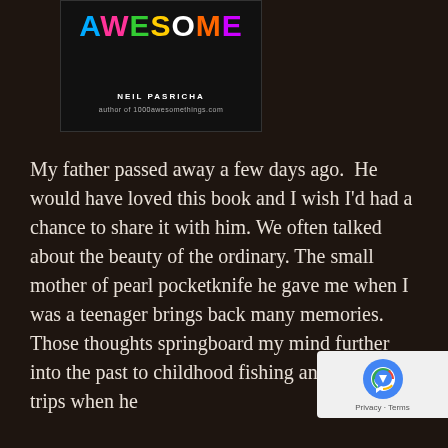[Figure (illustration): Book cover for 'Awesome' by Neil Pasricha, author of 1000awesomethings.com. Black background with colorful letters spelling AWESOME.]
My father passed away a few days ago.  He would have loved this book and I wish I'd had a chance to share it with him. We often talked about the beauty of the ordinary. The small mother of pearl pocketknife he gave me when I was a teenager brings back many memories. Those thoughts springboard my mind further into the past to childhood fishing and camping trips when he
[Figure (other): Google reCAPTCHA badge with Privacy and Terms links]